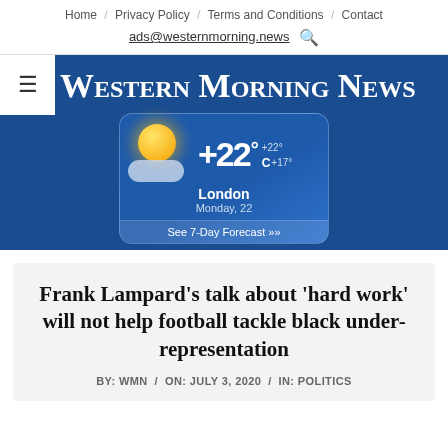Home / Privacy Policy / Terms and Conditions / Contact
ads@westernmorning.news
[Figure (screenshot): Western Morning News website header with masthead in blackletter font on blue background, hamburger menu icon, and weather widget showing +22°C in London on Monday 22 with partly cloudy conditions and See 7-Day Forecast link]
Frank Lampard's talk about 'hard work' will not help football tackle black under-representation
BY: WMN / ON: JULY 3, 2020 / IN: POLITICS